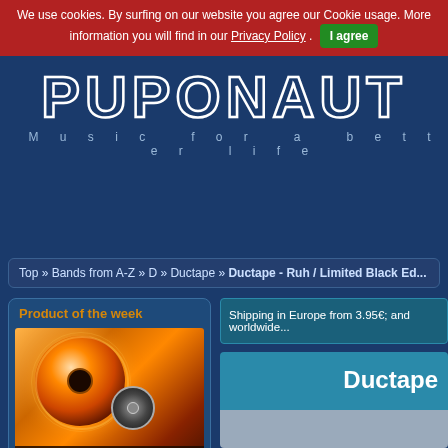We use cookies. By surfing on our website you agree our Cookie usage. More information you will find in our Privacy Policy . I agree
[Figure (logo): PUPONAUT logo with large outlined white letters on dark blue background, subtitle: Music for a better life]
Top » Bands from A-Z » D » Ductape » Ductape - Ruh / Limited Black Ed...
Product of the week
[Figure (photo): Album cover photo showing a record with sun-ray design, warm orange/red tones]
Shipping in Europe from 3.95€; and worldwide...
Ductape